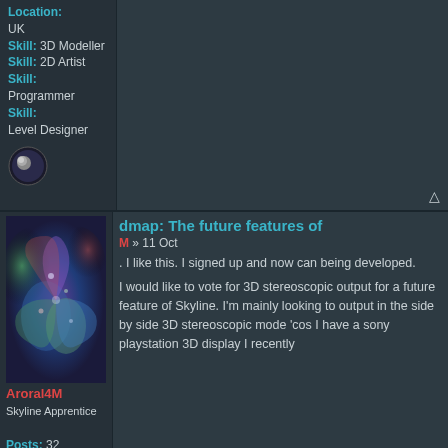Location: UK
Skill: 3D Modeller
Skill: 2D Artist
Skill: Programmer
Skill: Level Designer
[Figure (photo): Small circular avatar icon showing a moon]
[Figure (photo): Square fractal psychedelic avatar image with purple, green, blue colors]
dmap: The future features of
M » 11 Oct
. I like this. I signed up and now can being developed.
Aroral4M
Skyline Apprentice
Posts: 32
Joined:
I would like to vote for 3D stereoscopic output for a future feature of Skyline. I'm mainly looking to output in the side by side 3D stereoscopic mode 'cos I have a sony playstation 3D display I recently